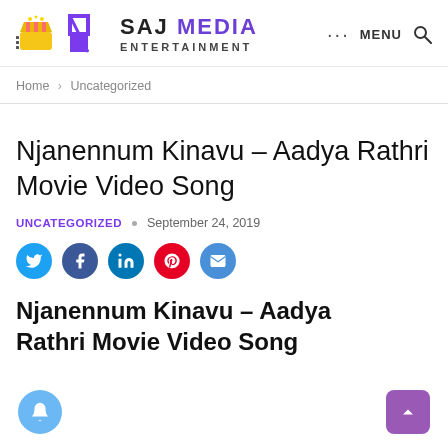SAJ MEDIA ENTERTAINMENT — MENU (search)
Home > Uncategorized
Njanennum Kinavu – Aadya Rathri Movie Video Song
UNCATEGORIZED • September 24, 2019
[Figure (infographic): Social share icons: Twitter, Facebook, LinkedIn, Pinterest, Email]
Njanennum Kinavu – Aadya Rathri Movie Video Song